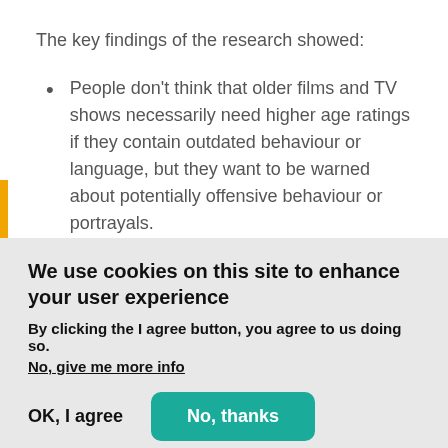The key findings of the research showed:
People don't think that older films and TV shows necessarily need higher age ratings if they contain outdated behaviour or language, but they want to be warned about potentially offensive behaviour or portrayals.
We use cookies on this site to enhance your user experience
By clicking the I agree button, you agree to us doing so.
No, give me more info
OK, I agree
No, thanks